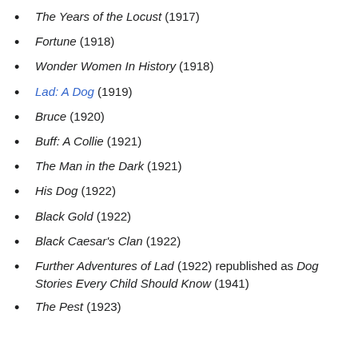The Years of the Locust (1917)
Fortune (1918)
Wonder Women In History (1918)
Lad: A Dog (1919)
Bruce (1920)
Buff: A Collie (1921)
The Man in the Dark (1921)
His Dog (1922)
Black Gold (1922)
Black Caesar's Clan (1922)
Further Adventures of Lad (1922) republished as Dog Stories Every Child Should Know (1941)
The Pest (1923)